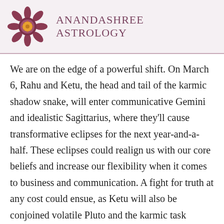[Figure (logo): Anandashree Astrology logo: decorative mandala/flower shape in dark rose/mauve with a sun center, accompanied by the brand name 'Anandashree Astrology' in uppercase serif type]
We are on the edge of a powerful shift. On March 6, Rahu and Ketu, the head and tail of the karmic shadow snake, will enter communicative Gemini and idealistic Sagittarius, where they'll cause transformative eclipses for the next year-and-a-half. These eclipses could realign us with our core beliefs and increase our flexibility when it comes to business and communication. A fight for truth at any cost could ensue, as Ketu will also be conjoined volatile Pluto and the karmic task master, Saturn, which will add a gritty dose of realism. Stay tuned to learn more about the Saturn-Ketu-Pluto conjunction this